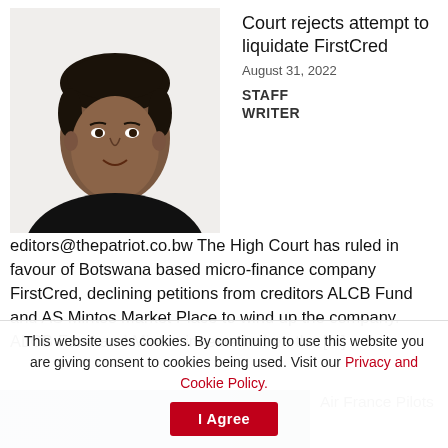[Figure (photo): Portrait photo of an African woman with short hair, wearing a dark top, against a white background]
Court rejects attempt to liquidate FirstCred
August 31, 2022
STAFF WRITER
editors@thepatriot.co.bw The High Court has ruled in favour of Botswana based micro-finance company FirstCred, declining petitions from creditors ALCB Fund and AS Mintos Market Place to wind up the company. ALCB Fund and Mintos invested when the [...]
[Figure (photo): Partial image with grayish-blue color, likely a photo for the Air France Pilots article]
Air France Pilots
This website uses cookies. By continuing to use this website you are giving consent to cookies being used. Visit our Privacy and Cookie Policy.
I Agree